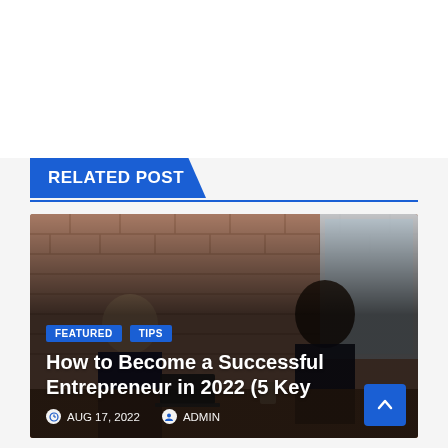RELATED POST
[Figure (photo): Two people sitting at a table in a meeting room with exposed brick walls — a man in a suit on the left and a woman on the right — with a laptop on the table. Text overlay shows category badges 'FEATURED' and 'TIPS', article title 'How to Become a Successful Entrepreneur in 2022 (5 Key', date 'AUG 17, 2022', and author 'ADMIN'.]